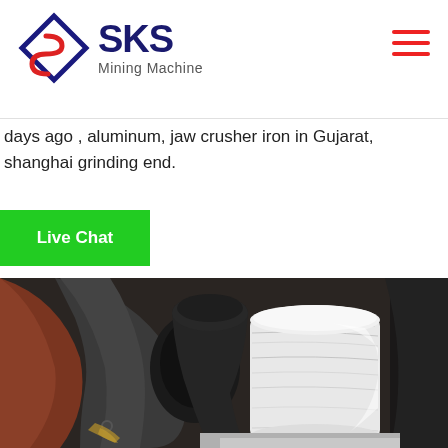SKS Mining Machine
days ago , aluminum, jaw crusher iron in Gujarat, shanghai grinding end.
Live Chat
[Figure (photo): Close-up interior view of a mining crusher machine showing a white cylindrical grinding component and dark metal bowl/chamber parts]